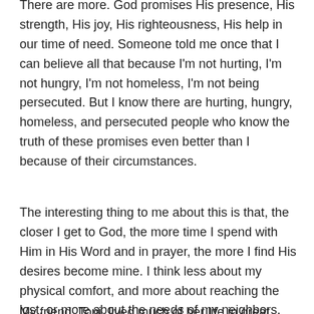There are more. God promises His presence, His strength, His joy, His righteousness, His help in our time of need. Someone told me once that I can believe all that because I'm not hurting, I'm not hungry, I'm not homeless, I'm not being persecuted. But I know there are hurting, hungry, homeless, and persecuted people who know the truth of these promises even better than I because of their circumstances.
The interesting thing to me about this is that, the closer I get to God, the more time I spend with Him in His Word and in prayer, the more I find His desires become mine. I think less about my physical comfort, and more about reaching the lost, or more about the needs of my neighbors. My prayers become more about others than about myself.
My friend, Toni, lived much of her life in great pain. She